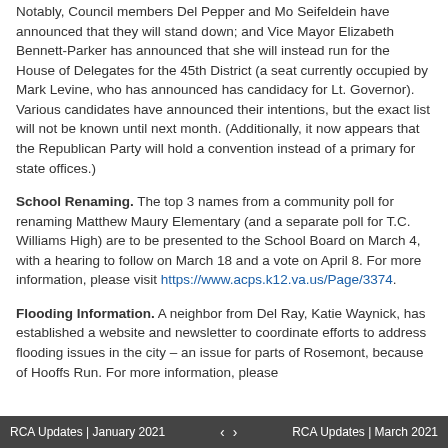Notably, Council members Del Pepper and Mo Seifeldein have announced that they will stand down; and Vice Mayor Elizabeth Bennett-Parker has announced that she will instead run for the House of Delegates for the 45th District (a seat currently occupied by Mark Levine, who has announced has candidacy for Lt. Governor). Various candidates have announced their intentions, but the exact list will not be known until next month. (Additionally, it now appears that the Republican Party will hold a convention instead of a primary for state offices.)
School Renaming. The top 3 names from a community poll for renaming Matthew Maury Elementary (and a separate poll for T.C. Williams High) are to be presented to the School Board on March 4, with a hearing to follow on March 18 and a vote on April 8. For more information, please visit https://www.acps.k12.va.us/Page/3374.
Flooding Information. A neighbor from Del Ray, Katie Waynick, has established a website and newsletter to coordinate efforts to address flooding issues in the city – an issue for parts of Rosemont, because of Hooffs Run. For more information, please
RCA Updates | January 2021   ‹   ›   RCA Updates | March 2021